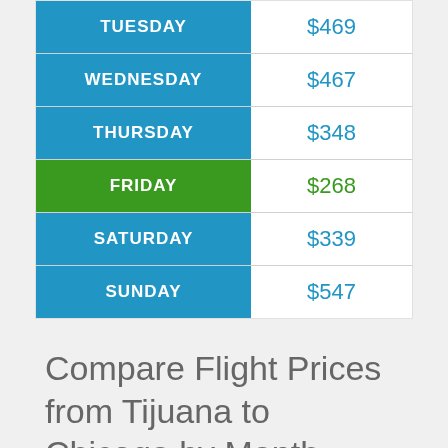| Day | Price |
| --- | --- |
| TUESDAY | $469 |
| WEDNESDAY | $467 |
| THURSDAY | $348 |
| FRIDAY | $268 |
| SATURDAY | $339 |
| SUNDAY | $547 |
Compare Flight Prices from Tijuana to Chicago by Month